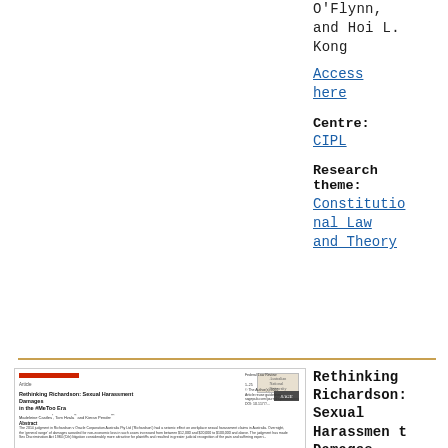O'Flynn, and Hoi L. Kong
Access here
Centre: CIPL
Research theme: Constitutional Law and Theory
[Figure (screenshot): Thumbnail image of article: Rethinking Richardson: Sexual Harassment Damages in the #MeToo Era by Madeleine Castles, Tom Hvala and Kieran Pender]
Rethinking Richardson: Sexual Harassment Damages in the #MeToo